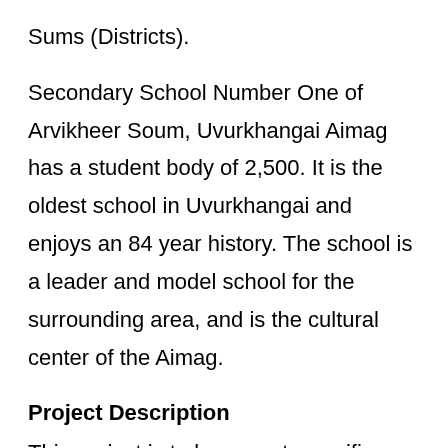Sums (Districts).
Secondary School Number One of Arvikheer Soum, Uvurkhangai Aimag has a student body of 2,500. It is the oldest school in Uvurkhangai and enjoys an 84 year history. The school is a leader and model school for the surrounding area, and is the cultural center of the Aimag.
Project Description
This project is to buy a water purifier system for each classroom to provide clean drinking water for students and teachers. The filters are necessary